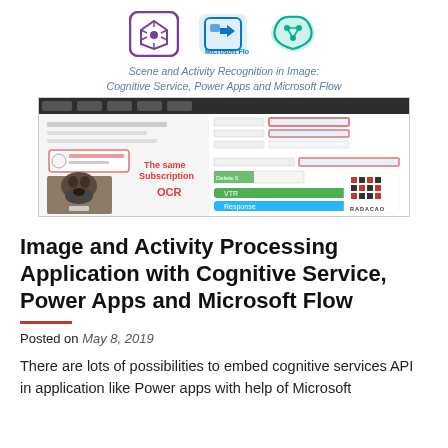[Figure (screenshot): Blog post header image showing logos for Power Apps, Microsoft Flow, and Azure Cognitive Services, with italic caption text and a screenshot of an application mockup with UI workflow]
Image and Activity Processing Application with Cognitive Service, Power Apps and Microsoft Flow
Posted on May 8, 2019
There are lots of possibilities to embed cognitive services API in application like Power apps with help of Microsoft